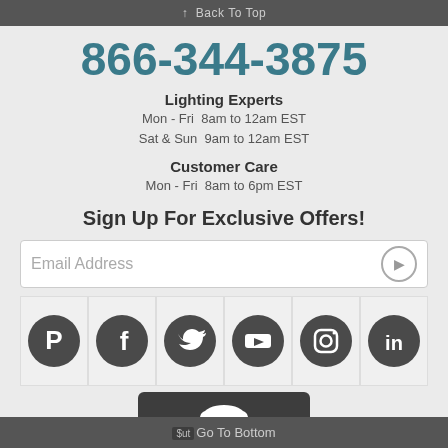↑ Back To Top
866-344-3875
Lighting Experts
Mon - Fri  8am to 12am EST
Sat & Sun  9am to 12am EST
Customer Care
Mon - Fri  8am to 6pm EST
Sign Up For Exclusive Offers!
Email Address
[Figure (infographic): Six social media icon buttons in a row: Pinterest, Facebook, Twitter, YouTube, Instagram, LinkedIn — dark grey circles on light grey cells]
[Figure (logo): Cloudflare dark button with cloud logo and CLOUDFLARE text]
Go To Bottom